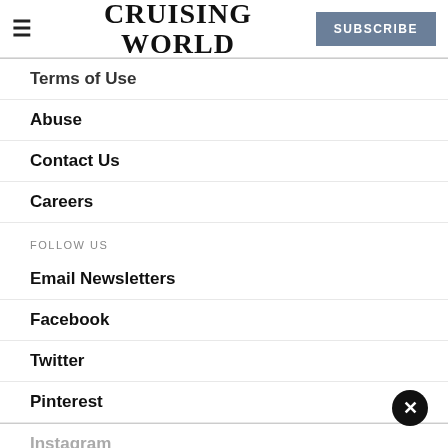CRUISING WORLD | SUBSCRIBE
Terms of Use
Abuse
Contact Us
Careers
FOLLOW US
Email Newsletters
Facebook
Twitter
Pinterest
Instagram
YouTube